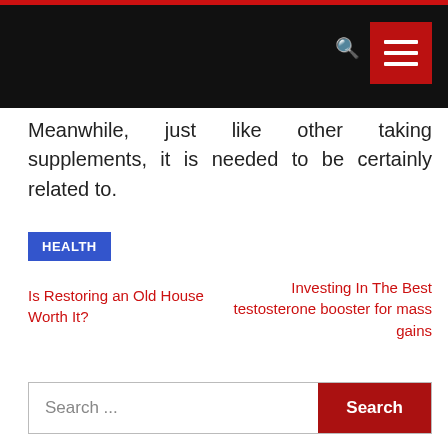[Navigation bar with dark background and hamburger menu]
Meanwhile, just like other taking supplements, it is needed to be certainly related to.
HEALTH
Is Restoring an Old House Worth It?
Investing In The Best testosterone booster for mass gains
Search ...
RECENT POSTS
TOKEPLANET: YOUR ONE-STOP SHOP FOR